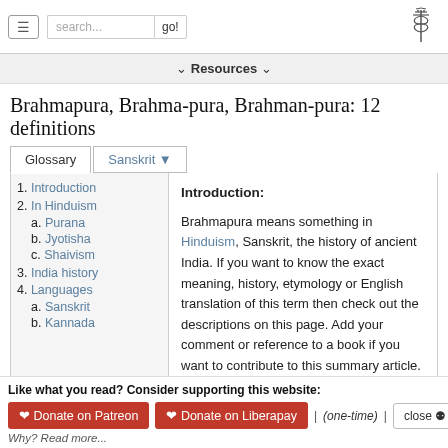Navigation header with hamburger menu, search box, and caduceus logo
Resources
Brahmapura, Brahma-pura, Brahman-pura: 12 definitions
Introduction:
1. Introduction
2. In Hinduism
a. Purana
b. Jyotisha
c. Shaivism
3. India history
4. Languages
a. Sanskrit
b. Kannada
Brahmapura means something in Hinduism, Sanskrit, the history of ancient India. If you want to know the exact meaning, history, etymology or English translation of this term then check out the descriptions on this page. Add your comment or reference to a book if you want to contribute to this summary article.
Like what you read? Consider supporting this website:
Donate on Patreon | Donate on Liberapay | (one-time) | close
Why? Read more...